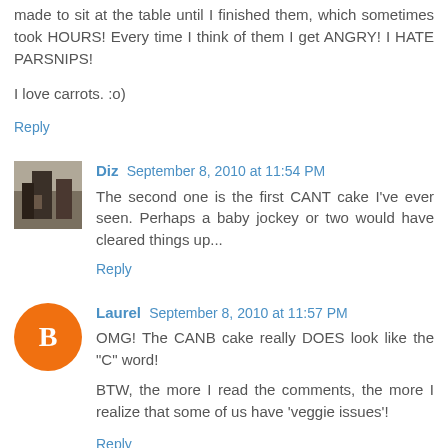made to sit at the table until I finished them, which sometimes took HOURS! Every time I think of them I get ANGRY! I HATE PARSNIPS!
I love carrots. :o)
Reply
Diz  September 8, 2010 at 11:54 PM
The second one is the first CANT cake I've ever seen. Perhaps a baby jockey or two would have cleared things up...
Reply
Laurel  September 8, 2010 at 11:57 PM
OMG! The CANB cake really DOES look like the "C" word!
BTW, the more I read the comments, the more I realize that some of us have 'veggie issues'!
Reply